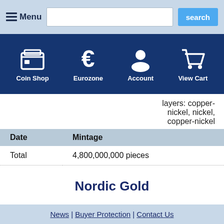[Figure (screenshot): Website top navigation bar with Menu button, search input, and search button on a light blue background]
[Figure (screenshot): Website navigation bar with icons and labels: Coin Shop, Eurozone, Account, View Cart on dark navy background]
layers: copper-nickel, nickel, copper-nickel
| Date | Mintage |
| --- | --- |
| Total | 4,800,000,000 pieces |
Nordic Gold
For the choice of coin metals for the eight Euro denominations a plea was made to avoid the
News | Buyer Protection | Contact Us